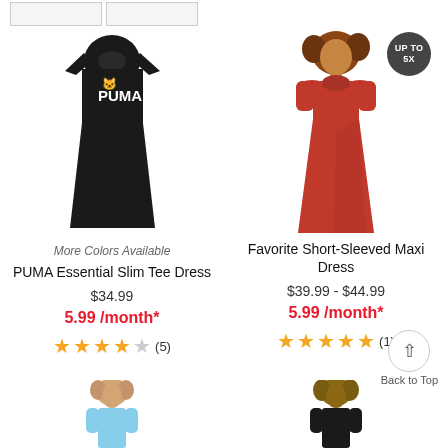[Figure (photo): PUMA Essential Slim Tee Dress - black dress with PUMA logo]
[Figure (photo): Favorite Short-Sleeved Maxi Dress - red maxi dress on model, UP TO 5X badge]
More Colors Available
PUMA Essential Slim Tee Dress
$34.99
5.99 /month*
(5) stars rating
Favorite Short-Sleeved Maxi Dress
$39.99 - $44.99
5.99 /month*
(1) stars rating
[Figure (photo): Bottom preview of light blue dress on model]
[Figure (photo): Bottom preview of dark dress on model]